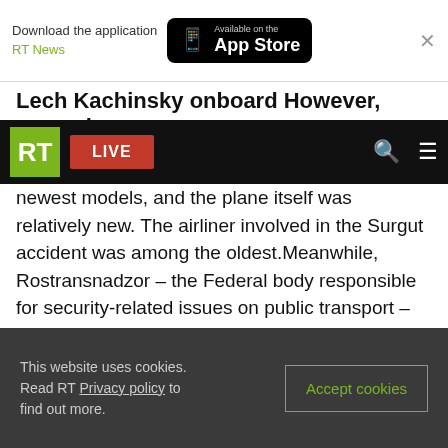Download the application RT News — Available on the App Store
Lech Kachinsky onboard However, several
RT LIVE
newest models, and the plane itself was relatively new. The airliner involved in the Surgut accident was among the oldest.Meanwhile, Rostransnadzor – the Federal body responsible for security-related issues on public transport – has instructed all airlines operating the old modification of the Tu-154 from the 1970s, called the Tu-154B, to ground these planes. Fifteen are still in service throughout Russia. The ban for this model aircraft will remain in place until the circumstances around the Surgut incident are investigated
This website uses cookies. Read RT Privacy policy to find out more.